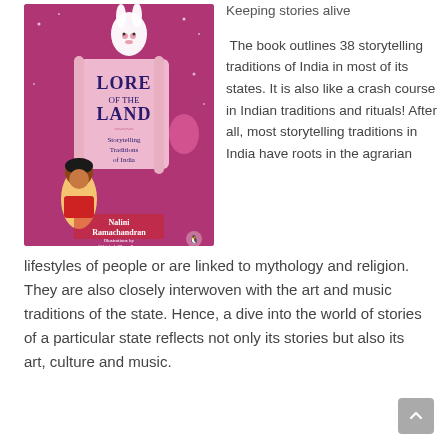[Figure (illustration): Book cover of 'Lore of the Land: Storytelling Traditions of India' by Nalini Ramachandran, illustrated by Abhishek Chowdhury. Published by Puffin/Penguin. Pink/magenta background with a girl character, a white rabbit-like creature, and decorative elements.]
Keeping stories alive
The book outlines 38 storytelling traditions of India in most of its states. It is also like a crash course in Indian traditions and rituals! After all, most storytelling traditions in India have roots in the agrarian lifestyles of people or are linked to mythology and religion. They are also closely interwoven with the art and music traditions of the state. Hence, a dive into the world of stories of a particular state reflects not only its stories but also its art, culture and music.